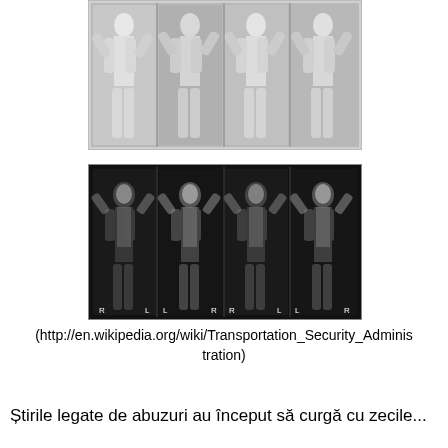[Figure (photo): Four body scanner images in grayscale showing full-body scans of a person from front and back, millimeter wave scanner style (white/gray on dark background)]
[Figure (photo): Four body scanner images in dark/black style showing full-body backscatter X-ray scans of a person, dark background with bright skeletal details]
(http://en.wikipedia.org/wiki/Transportation_Security_Administration)
Știrile legate de abuzuri au început să curgă cu zecile...